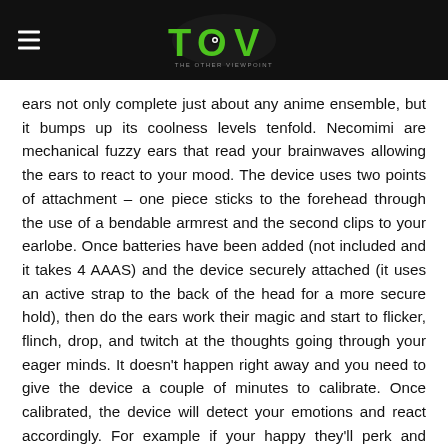TOV - The Other Viewpoint
ears not only complete just about any anime ensemble, but it bumps up its coolness levels tenfold. Necomimi are mechanical fuzzy ears that read your brainwaves allowing the ears to react to your mood. The device uses two points of attachment – one piece sticks to the forehead through the use of a bendable armrest and the second clips to your earlobe. Once batteries have been added (not included and it takes 4 AAAS) and the device securely attached (it uses an active strap to the back of the head for a more secure hold), then do the ears work their magic and start to flicker, flinch, drop, and twitch at the thoughts going through your eager minds. It doesn't happen right away and you need to give the device a couple of minutes to calibrate. Once calibrated, the device will detect your emotions and react accordingly. For example if your happy they'll perk and wiggle. And if you're sad they'll droop.